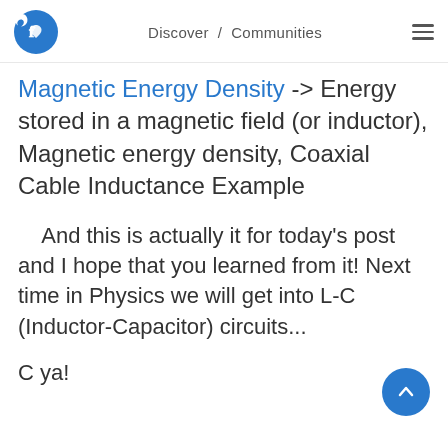Discover / Communities
Magnetic Energy Density -> Energy stored in a magnetic field (or inductor), Magnetic energy density, Coaxial Cable Inductance Example
And this is actually it for today's post and I hope that you learned from it! Next time in Physics we will get into L-C (Inductor-Capacitor) circuits...
C ya!